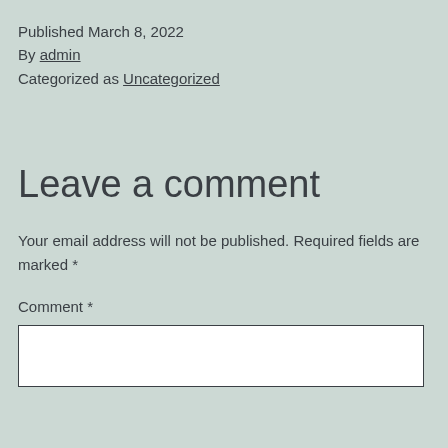Published March 8, 2022
By admin
Categorized as Uncategorized
Leave a comment
Your email address will not be published. Required fields are marked *
Comment *